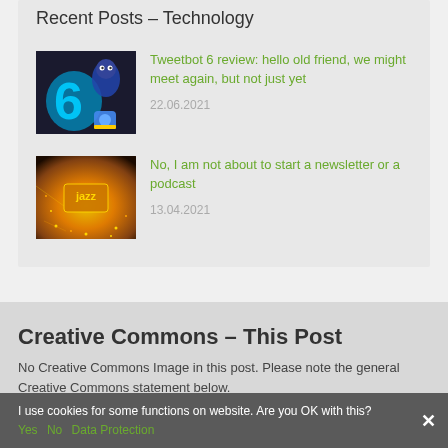Recent Posts – Technology
[Figure (photo): Tweetbot 6 app promotional image showing a blue bird character with a glowing number 6 on a dark background]
Tweetbot 6 review: hello old friend, we might meet again, but not just yet
22.06.2021
[Figure (photo): Concert or event scene with orange/gold glittery background and artistic lighting]
No, I am not about to start a newsletter or a podcast
13.04.2021
Creative Commons – This Post
No Creative Commons Image in this post. Please note the general Creative Commons statement below.
I use cookies for some functions on website. Are you OK with this?
Yes   No   Data Protection